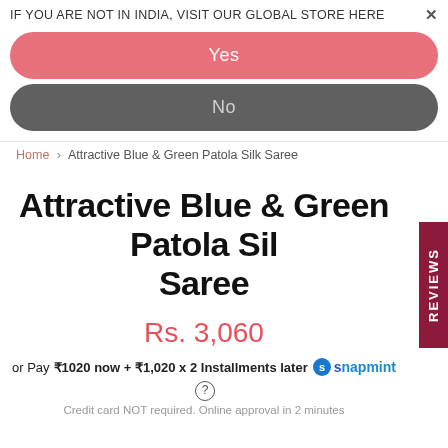IF YOU ARE NOT IN INDIA, VISIT OUR GLOBAL STORE HERE ×
Yes
No
Home > Attractive Blue & Green Patola Silk Saree
Attractive Blue & Green Patola Silk Saree
Rs. 3,060
or Pay ₹1020 now + ₹1,020 x 2 Installments later snapmint ?
Credit card NOT required. Online approval in 2 minutes